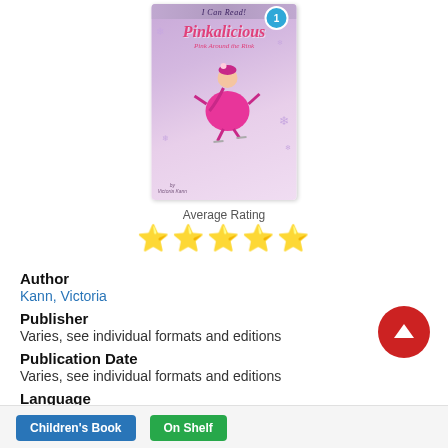[Figure (illustration): Book cover of 'Pinkalicious: Pink Around the Rink' from the I Can Read! Level 1 series by Victoria Kann. Shows a girl in a pink dress ice skating, with a purple/pink winter background and snowflakes.]
Average Rating
★★★★★
Author
Kann, Victoria
Publisher
Varies, see individual formats and editions
Publication Date
Varies, see individual formats and editions
Language
English
Children's Book
On Shelf